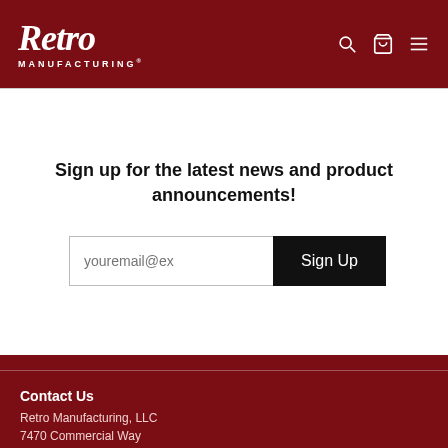[Figure (logo): Retro Manufacturing logo in white script on dark red header, with search, cart, and menu icons on the right]
Sign up for the latest news and product announcements!
[Figure (screenshot): Email input field with placeholder 'youremail@ex' and a black 'Sign Up' button]
Contact Us
Retro Manufacturing, LLC
7470 Commercial Way
Henderson, NV 89011